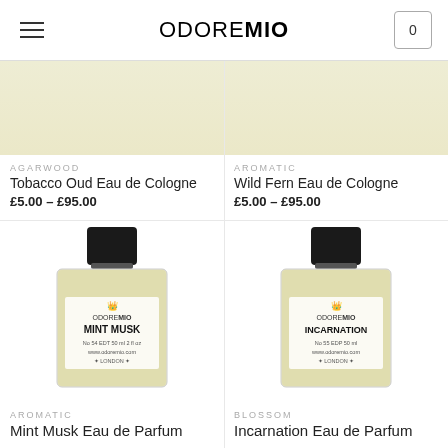ODOREMIO
AGARWOOD
Tobacco Oud Eau de Cologne
£5.00 – £95.00
AROMATIC
Wild Fern Eau de Cologne
£5.00 – £95.00
[Figure (photo): Perfume bottle for Mint Musk Eau de Parfum by Odore Mio, No 54 EDT 50ml 2fl oz, London]
[Figure (photo): Perfume bottle for Incarnation Eau de Parfum by Odore Mio, No 55 EDP 50ml, London]
AROMATIC
Mint Musk Eau de Parfum
BLOSSOM
Incarnation Eau de Parfum